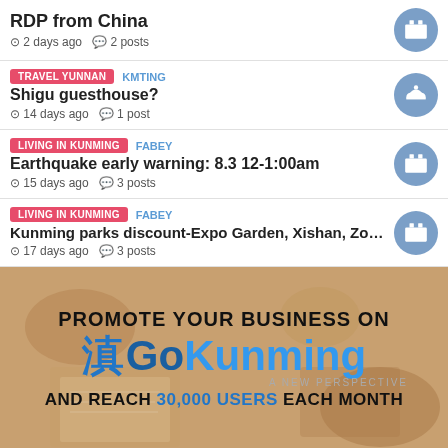RDP from China
2 days ago  2 posts
TRAVEL YUNNAN  KMTING
Shigu guesthouse?
14 days ago  1 post
LIVING IN KUNMING  FABEY
Earthquake early warning: 8.3 12-1:00am
15 days ago  3 posts
LIVING IN KUNMING  FABEY
Kunming parks discount-Expo Garden, Xishan, Zoo...
17 days ago  3 posts
[Figure (infographic): Advertisement banner: PROMOTE YOUR BUSINESS ON GoKunming (with Chinese character 滇) A NEW PERSPECTIVE AND REACH 30,000 USERS EACH MONTH]